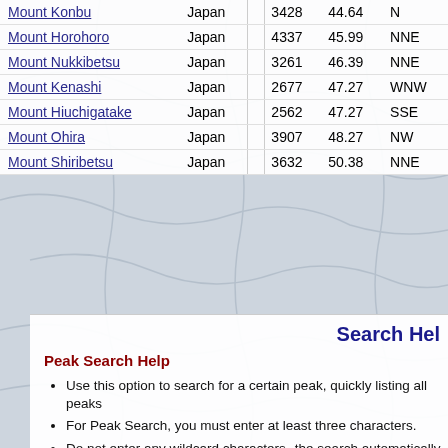| Peak | Country |  | Elev | Dist | Dir |
| --- | --- | --- | --- | --- | --- |
| Mount Konbu | Japan |  | 3428 | 44.64 | N |
| Mount Horohoro | Japan |  | 4337 | 45.99 | NNE |
| Mount Nukkibetsu | Japan |  | 3261 | 46.39 | NNE |
| Mount Kenashi | Japan |  | 2677 | 47.27 | WNW |
| Mount Hiuchigatake | Japan |  | 2562 | 47.27 | SSE |
| Mount Ohira | Japan |  | 3907 | 48.27 | NW |
| Mount Shiribetsu | Japan |  | 3632 | 50.38 | NNE |
Search Hel
Peak Search Help
Use this option to search for a certain peak, quickly listing all peaks
For Peak Search, you must enter at least three characters.
Do not enter any wildcard characters--the search automatically sea
Do not abbreviate any words. Type "Mount Saint Helens", not "Mt. S
The maximum number of search results for any Peak Search is abo
For common peak names, you can filter by selecting a Nation and/or this filter.
Searching is not case-sensitive and ignores all accents and diacriti
The results are in order of how many page hits a Peak has receive first.
Radius Search Help